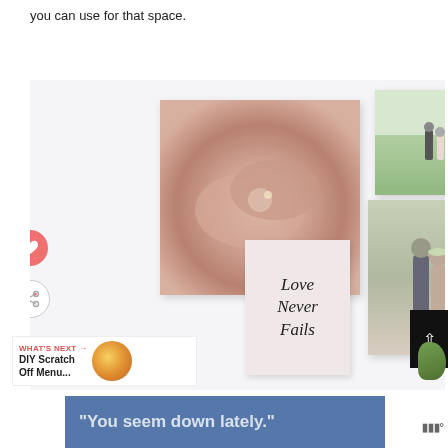you can use for that space.
[Figure (photo): Collage of wedding canvas prints on a wall: a large print of intertwined hands with a ring, a smaller print of a couple walking in a field, a print of a couple embracing, and a decorative print reading 'Love Never Fails' in script on a pink background.]
WHAT'S NEXT → DIY Scratch Off Menu...
"You seem down lately."